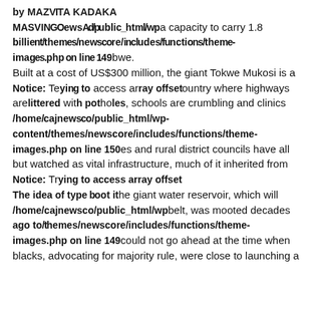by MAZVITA KADAKA
MASVINGEEE wsAd/public_html/wp a capacity to carry 1.8 billion/themes/newscore/includes/functions/theme-images.php on line 149 bwe.
Built at a cost of US$300 million, the giant Tokwe Mukosi is a Notice: Trying to access array offset on value of type bool in /home/cajnewsco/public_html/wp-content/themes/newscore/includes/functions/theme-images.php on line 150 es and rural district councils have all but watched as vital infrastructure, much of it inherited from Notice: Trying to access array offset
The idea of type boot it he giant water reservoir, which will /home/cajnewsco/public_html/wp belt, was mooted decades ago to/themes/newscore/includes/functions/theme-images.php on line 149 could not go ahead at the time when blacks, advocating for majority rule, were close to launching a